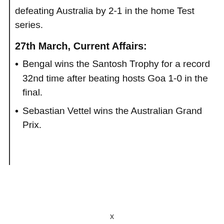defeating Australia by 2-1 in the home Test series.
27th March, Current Affairs:
Bengal wins the Santosh Trophy for a record 32nd time after beating hosts Goa 1-0 in the final.
Sebastian Vettel wins the Australian Grand Prix.
x